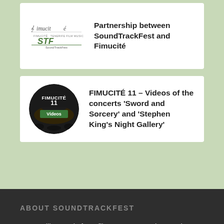[Figure (logo): Fimucité and SoundTrackFest logos stacked]
Partnership between SoundTrackFest and Fimucité
[Figure (photo): Circular thumbnail image of a concert hall with FIMUCITÉ 11 Videos text overlay]
FIMUCITÉ 11 – Videos of the concerts 'Sword and Sorcery' and 'Stephen King's Night Gallery'
ABOUT SOUNDTRACKFEST
Do you like music from films, games, and TV series?
Discover a way to enjoy that music live in